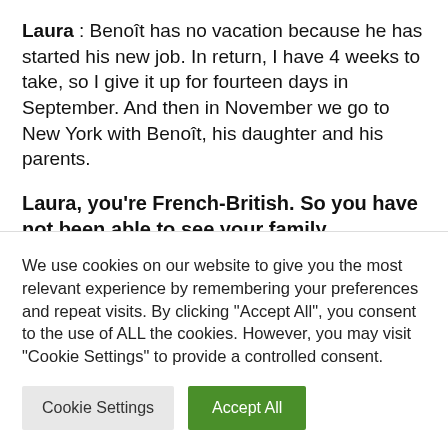Laura : Benoît has no vacation because he has started his new job. In return, I have 4 weeks to take, so I give it up for fourteen days in September. And then in November we go to New York with Benoît, his daughter and his parents.
Laura, you're French-British. So you have not been able to see your family since the start of the health
We use cookies on our website to give you the most relevant experience by remembering your preferences and repeat visits. By clicking "Accept All", you consent to the use of ALL the cookies. However, you may visit "Cookie Settings" to provide a controlled consent.